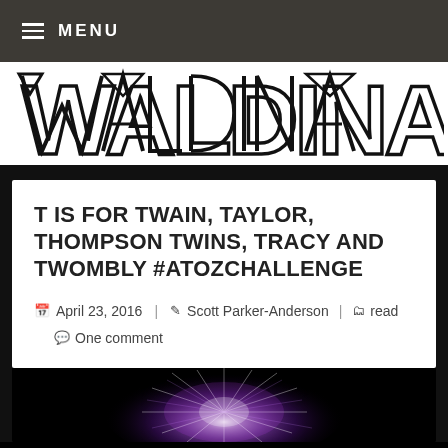≡ MENU
WALDINA
T IS FOR TWAIN, TAYLOR, THOMPSON TWINS, TRACY AND TWOMBLY #ATOZCHALLENGE
April 23, 2016  Scott Parker-Anderson  read  One comment
[Figure (photo): Dark image with colorful burst/firework effect in purple and pink tones against black background]